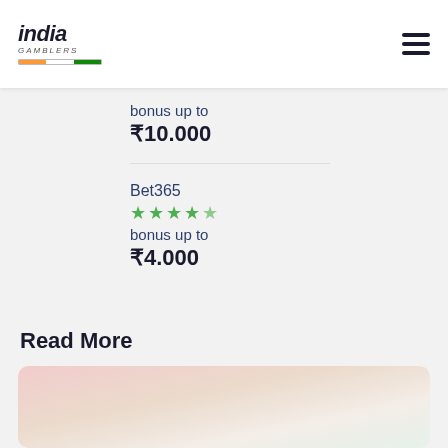india GAMBLERS
bonus up to
₹10.000
Bet365
★★★★½
bonus up to
₹4.000
Read More
[Figure (photo): Blurred background image, pinkish-beige gradient tones, partially visible at bottom of page]